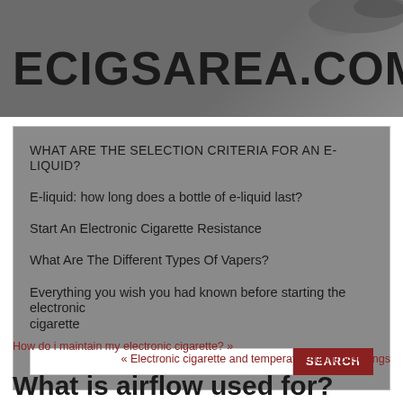ECIGSAREA.COM
WHAT ARE THE SELECTION CRITERIA FOR AN E-LIQUID?
E-liquid: how long does a bottle of e-liquid last?
Start An Electronic Cigarette Resistance
What Are The Different Types Of Vapers?
Everything you wish you had known before starting the electronic cigarette
How do i maintain my electronic cigarette? »
« Electronic cigarette and temperature control settings
What is airflow used for?